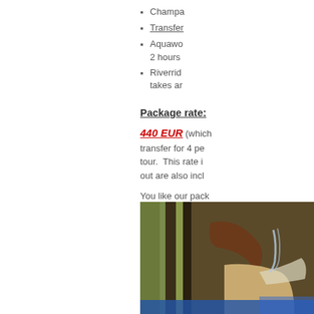Champa...
Transfer...
Aquawo... 2 hours...
Riverrid... takes ar...
Package rate:
440 EUR (which... transfer for 4 pe... tour. This rate i... out are also incl...
You like our pack... The tours must ...
[Figure (photo): Photo of what appears to be a champagne glass or water activity, partially visible at the bottom right of the page.]